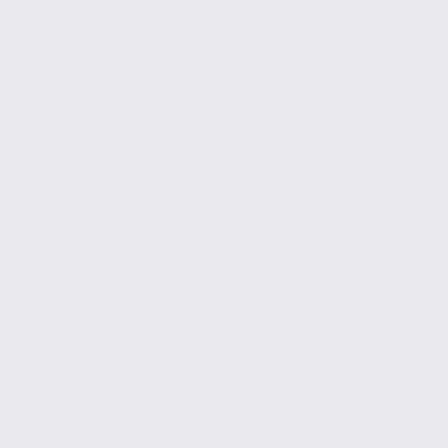that seems more like... or understanding. I'm... are doing is very cou... targeting the Muge... game more boring a... this CvS then..... it's...
The bottom line is.... Do you want your ga... with a flat, boring 1 s... characters than to u... removal. Seriously, y... would reconsider wi...
At the end of the day... I'm just sharing the t... your choice.
Go play CVSW then if y... with groove selection. T... choice on what he pref... think he's done a great...
Wh...